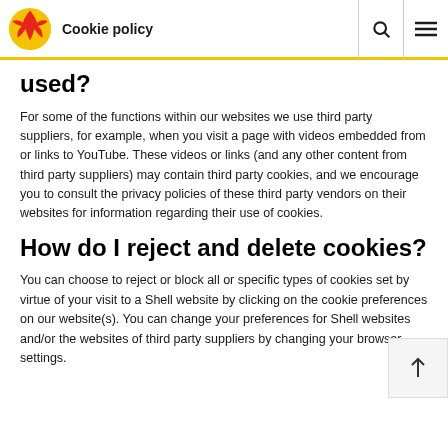Cookie policy
used?
For some of the functions within our websites we use third party suppliers, for example, when you visit a page with videos embedded from or links to YouTube. These videos or links (and any other content from third party suppliers) may contain third party cookies, and we encourage you to consult the privacy policies of these third party vendors on their websites for information regarding their use of cookies.
How do I reject and delete cookies?
You can choose to reject or block all or specific types of cookies set by virtue of your visit to a Shell website by clicking on the cookie preferences on our website(s). You can change your preferences for Shell websites and/or the websites of third party suppliers by changing your browser settings.